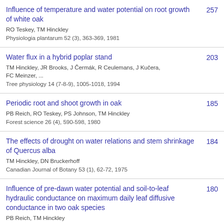Influence of temperature and water potential on root growth of white oak | RO Teskey, TM Hinckley | Physiologia plantarum 52 (3), 363-369, 1981 | 257
Water flux in a hybrid poplar stand | TM Hinckley, JR Brooks, J Čermák, R Ceulemans, J Kučera, FC Meinzer, ... | Tree physiology 14 (7-8-9), 1005-1018, 1994 | 203
Periodic root and shoot growth in oak | PB Reich, RO Teskey, PS Johnson, TM Hinckley | Forest science 26 (4), 590-598, 1980 | 185
The effects of drought on water relations and stem shrinkage of Quercus alba | TM Hinckley, DN Bruckerhoff | Canadian Journal of Botany 53 (1), 62-72, 1975 | 184
Influence of pre-dawn water potential and soil-to-leaf hydraulic conductance on maximum daily leaf diffusive conductance in two oak species | PB Reich, TM Hinckley | Functional Ecology 710-726, 1989 | 180